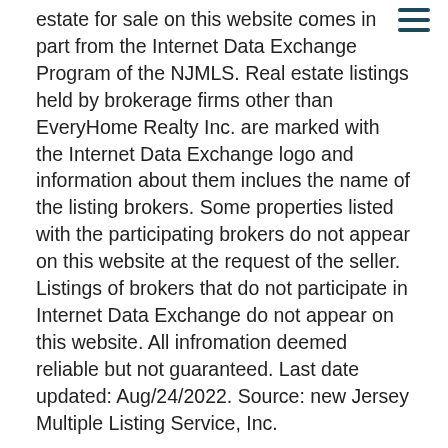estate for sale on this website comes in part from the Internet Data Exchange Program of the NJMLS. Real estate listings held by brokerage firms other than EveryHome Realty Inc. are marked with the Internet Data Exchange logo and information about them inclues the name of the listing brokers. Some properties listed with the participating brokers do not appear on this website at the request of the seller. Listings of brokers that do not participate in Internet Data Exchange do not appear on this website. All infromation deemed reliable but not guaranteed. Last date updated: Aug/24/2022. Source: new Jersey Multiple Listing Service, Inc.
© 2022 New Jersey Multiple Listing Service, Inc. All Rights Reserved
Presentation: © 2022 EveryHome, Realtors, All Rights Reserved. EveryHome is licensed by the New Jersey Real Estate Commission - License 0901599
Real estate listings held by brokerage firms other than EveryHome are marked with the IDX icon and detailed